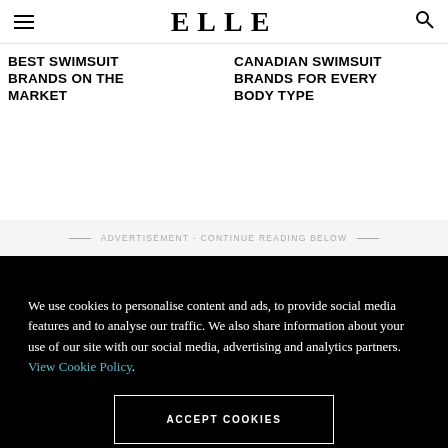ELLE
BEST SWIMSUIT BRANDS ON THE MARKET
CANADIAN SWIMSUIT BRANDS FOR EVERY BODY TYPE
ADVERTISEMENT - CONTINUE READING BELOW
We use cookies to personalise content and ads, to provide social media features and to analyse our traffic. We also share information about your use of our site with our social media, advertising and analytics partners. View Cookie Policy.
ACCEPT COOKIES